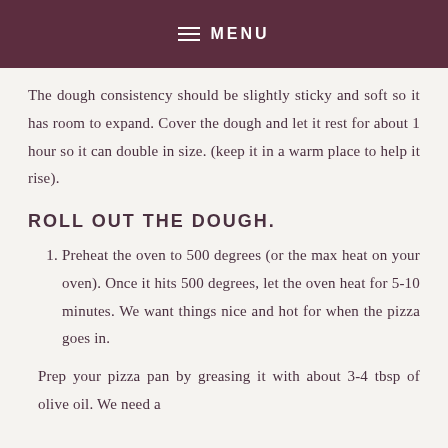MENU
The dough consistency should be slightly sticky and soft so it has room to expand. Cover the dough and let it rest for about 1 hour so it can double in size. (keep it in a warm place to help it rise).
ROLL OUT THE DOUGH.
1. Preheat the oven to 500 degrees (or the max heat on your oven). Once it hits 500 degrees, let the oven heat for 5-10 minutes. We want things nice and hot for when the pizza goes in.
Prep your pizza pan by greasing it with about 3-4 tbsp of olive oil. We need a